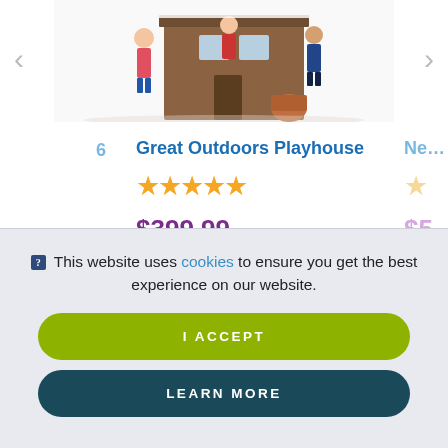[Figure (photo): Partial product image of a playhouse with children figures, cropped at top]
‹
›
Great Outdoors Playhouse
★★★★★ (5 stars)
$399.99
❓ This website uses cookies to ensure you get the best experience on our website.
I ACCEPT
LEARN MORE